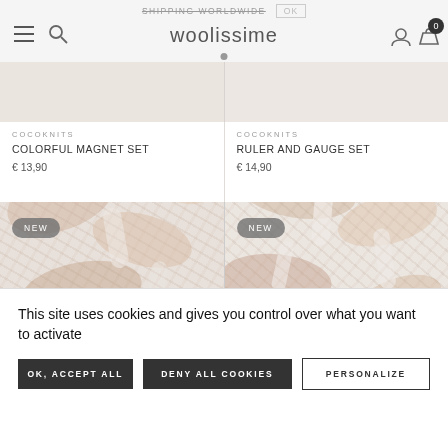SHIPPING WORLDWIDE  OK  woolissime
COCOKNITS
COLORFUL MAGNET SET
€ 13,90
COCOKNITS
RULER AND GAUGE SET
€ 14,90
[Figure (photo): Two product thumbnail images with NEW badge overlays showing yarn/knitting supplies]
This site uses cookies and gives you control over what you want to activate
OK, ACCEPT ALL   DENY ALL COOKIES   PERSONALIZE